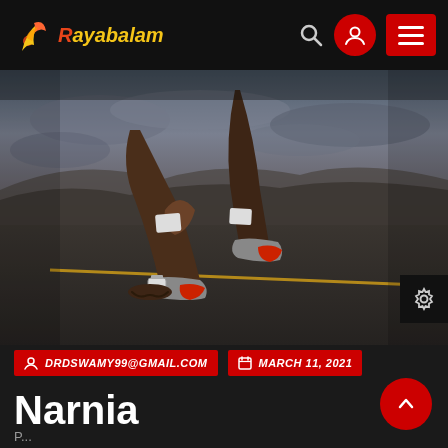Rayabalam
[Figure (photo): A close-up photo of a sprinter in starting position on a road, showing muscular legs, running shoes, and a dramatic cloudy sky in the background. The runner is wearing a watch and crouching at the starting line on asphalt.]
DRDSWAMY99@GMAIL.COM
MARCH 11, 2021
Narnia
P...